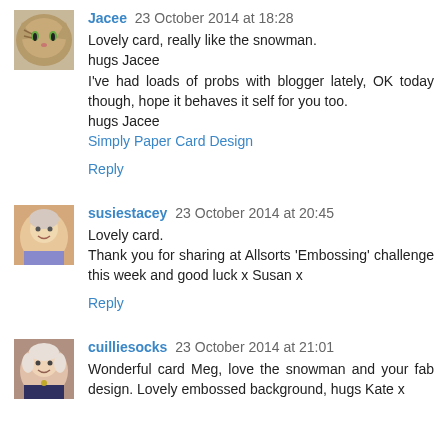[Figure (photo): Avatar photo of a cat (Jacee)]
Jacee 23 October 2014 at 18:28
Lovely card, really like the snowman.
hugs Jacee
I've had loads of probs with blogger lately, OK today though, hope it behaves it self for you too.
hugs Jacee
Simply Paper Card Design
Reply
[Figure (photo): Avatar photo of susiestacey (woman with short hair)]
susiestacey 23 October 2014 at 20:45
Lovely card.
Thank you for sharing at Allsorts 'Embossing' challenge this week and good luck x Susan x
Reply
[Figure (photo): Avatar photo of cuilliesocks (woman)]
cuilliesocks 23 October 2014 at 21:01
Wonderful card Meg, love the snowman and your fab design. Lovely embossed background, hugs Kate x